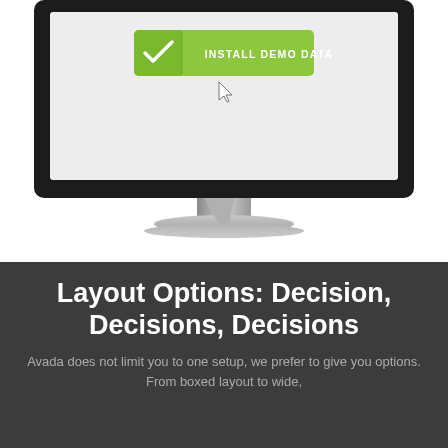[Figure (screenshot): Illustration of an iMac-style desktop monitor displaying a green 'Install Demo Data' button with a checkmark icon and a cursor hovering over it. The monitor has a silver stand.]
Layout Options: Decision, Decisions, Decisions
Avada does not limit you to one setup, we prefer to give you options. From boxed layout to wide,